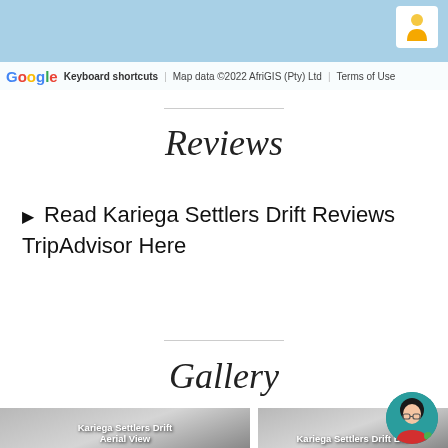[Figure (screenshot): Google Maps footer bar showing Google logo, Keyboard shortcuts, Map data ©2022 AfriGIS (Pty) Ltd, Terms of Use, and a person/pegman icon]
Reviews
▶ Read Kariega Settlers Drift Reviews TripAdvisor Here
Gallery
[Figure (photo): Gallery thumbnail: Kariega Settlers Drift Aerial View]
[Figure (photo): Gallery thumbnail: Kariega Settlers Drift Bar]